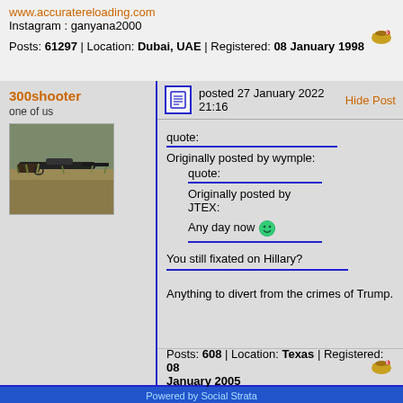www.accuratereloading.com
Instagram : ganyana2000
Posts: 61297 | Location: Dubai, UAE | Registered: 08 January 1998
300shooter
one of us
[Figure (photo): Avatar photo of a rifle on grassland]
posted 27 January 2022 21:16
Hide Post
quote:
Originally posted by wymple:
quote:
Originally posted by JTEX:
Any day now

You still fixated on Hillary?
Anything to divert from the crimes of Trump.
Posts: 608 | Location: Texas | Registered: 08 January 2005
Powered by Social Strata